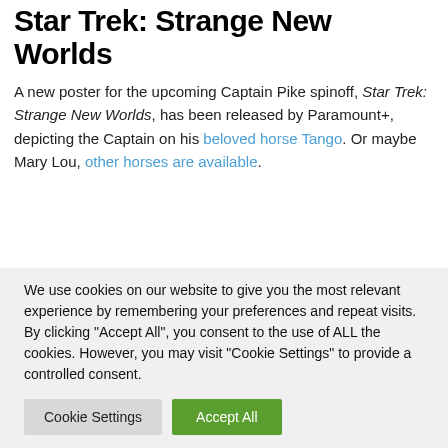Star Trek: Strange New Worlds
A new poster for the upcoming Captain Pike spinoff, Star Trek: Strange New Worlds, has been released by Paramount+, depicting the Captain on his beloved horse Tango. Or maybe Mary Lou, other horses are available.
We use cookies on our website to give you the most relevant experience by remembering your preferences and repeat visits. By clicking "Accept All", you consent to the use of ALL the cookies. However, you may visit "Cookie Settings" to provide a controlled consent.